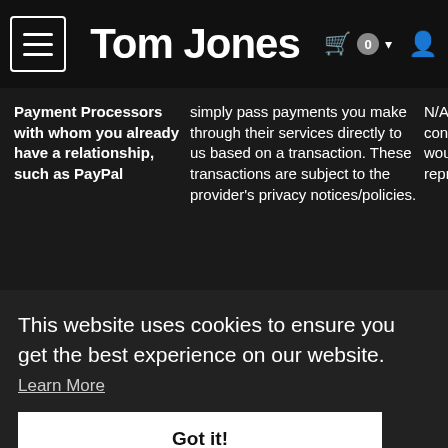Tom Jones
| Category | Description | Notes |
| --- | --- | --- |
| Payment Processors with whom you already have a relationship, such as PayPal | simply pass payments you make through their services directly to us based on a transaction. These transactions are subject to the provider's privacy notices/policies. | N/A for European base... contact dataprotectio... would like to find ou... representative. |
This website uses cookies to ensure you get the best experience on our website.
Learn More
Got it!
If appl... leavin... safequ...
In the quality provid States
Web hosting providers processing your Technical Data (and